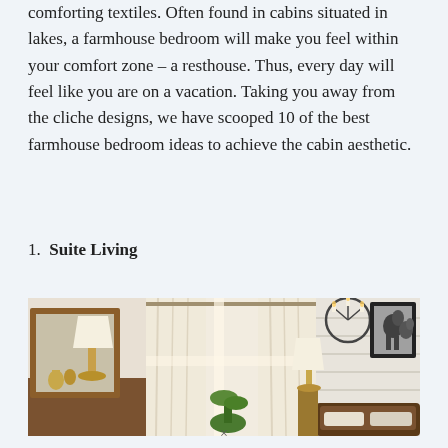comforting textiles. Often found in cabins situated in lakes, a farmhouse bedroom will make you feel within your comfort zone – a resthouse. Thus, every day will feel like you are on a vacation. Taking you away from the cliche designs, we have scooped 10 of the best farmhouse bedroom ideas to achieve the cabin aesthetic.
1. Suite Living
[Figure (photo): Interior photo of a farmhouse-style bedroom showing shiplap white walls, cream curtains, a round metal chandelier with candle lights, a framed black-and-white horse photo, a wooden bed headboard, a lamp on a dresser, a mirror with wooden frame, and decorative gold figurines.]